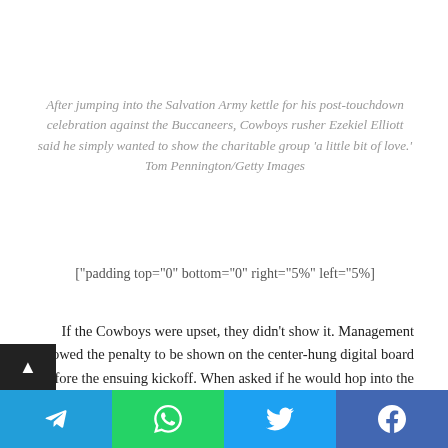After jumping into the Salvation Army kettle for his post-touchdown celebration against the Buccaneers, Cowboys rusher Ezekiel Elliott said he simply wanted to show the charitable group 'a little bit of love.' Tom Pennington/Getty Images
["padding top="0" bottom="0" right="5%" left="5%]
If the Cowboys were upset, they didn't show it. Management allowed the penalty to be shown on the center-hung digital board before the ensuing kickoff. When asked if he would hop into the kettle again, Elliott said it was a one-time gesture.
I'm going to match whatever